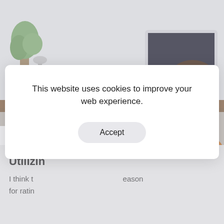[Figure (photo): Woman with glasses and orange shirt sitting at a desk, talking on the phone, with an iMac computer in the background and a plant to the left.]
2 godine ago
Blog Single
Utilizin
I think t... eason for ratin
This website uses cookies to improve your web experience.
Accept